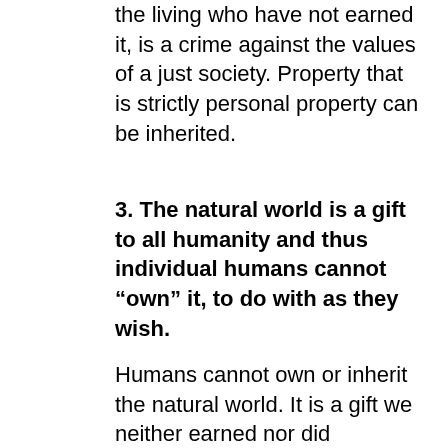the living who have not earned it, is a crime against the values of a just society. Property that is strictly personal property can be inherited.
3. The natural world is a gift to all humanity and thus individual humans cannot “own” it, to do with as they wish.
Humans cannot own or inherit the natural world. It is a gift we neither earned nor did